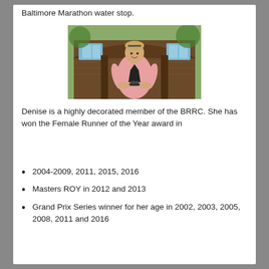Baltimore Marathon water stop.
[Figure (photo): Woman in pink shirt holding a black trophy award, standing in front of a wooden building with trees in background.]
Denise is a highly decorated member of the BRRC. She has won the Female Runner of the Year award in
2004-2009, 2011, 2015, 2016
Masters ROY in 2012 and 2013
Grand Prix Series winner for her age in 2002, 2003, 2005, 2008, 2011 and 2016